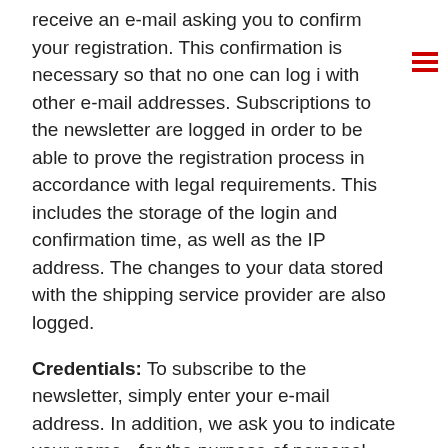receive an e-mail asking you to confirm your registration. This confirmation is necessary so that no one can log i with other e-mail addresses. Subscriptions to the newsletter are logged in order to be able to prove the registration process in accordance with legal requirements. This includes the storage of the login and confirmation time, as well as the IP address. The changes to your data stored with the shipping service provider are also logged.
Credentials: To subscribe to the newsletter, simply enter your e-mail address. In addition, we ask you to indicate your name - for the purpose of personal address in the newsletter.
Success measurement - The newsletters can contain a so-called "web-beacon", i.e. a pixel-sized file that is retrieved from the mail-order company's server when the newsletter is opened. Within the scope of this retrieval,